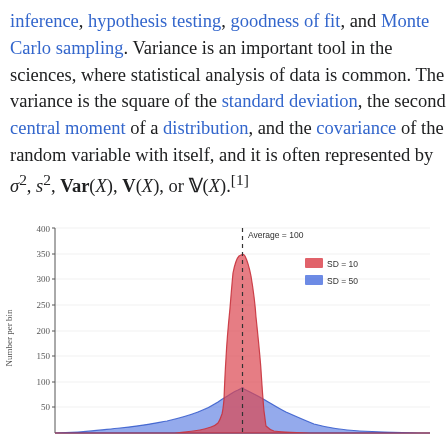inference, hypothesis testing, goodness of fit, and Monte Carlo sampling. Variance is an important tool in the sciences, where statistical analysis of data is common. The variance is the square of the standard deviation, the second central moment of a distribution, and the covariance of the random variable with itself, and it is often represented by σ², s², Var(X), V(X), or V(X).[1]
[Figure (continuous-plot): Histogram showing two overlapping normal distributions both centered at Average=100. Red distribution has SD=10 (tall narrow peak reaching ~345), blue distribution has SD=50 (wide short peak). Y-axis labeled 'Number per bin' with ticks at 50,100,150,200,250,300,350,400. Dashed vertical line at Average=100. Legend shows SD=10 (red) and SD=50 (blue).]